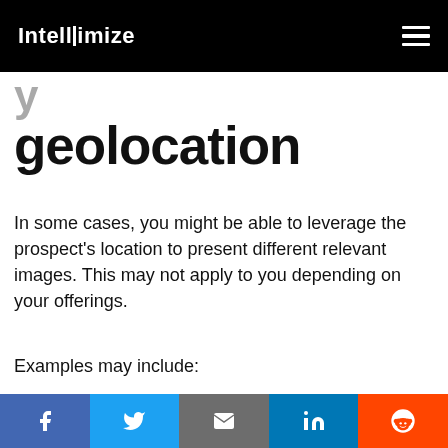Intellimize
geolocation
In some cases, you might be able to leverage the prospect's location to present different relevant images. This may not apply to you depending on your offerings.
Examples may include:
Region-specific imagery for high-value regions or targeted prospects. For instance, if you're